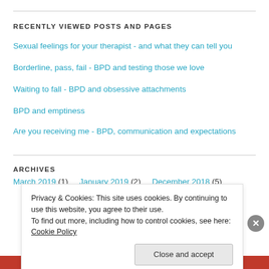RECENTLY VIEWED POSTS AND PAGES
Sexual feelings for your therapist - and what they can tell you
Borderline, pass, fail - BPD and testing those we love
Waiting to fall - BPD and obsessive attachments
BPD and emptiness
Are you receiving me - BPD, communication and expectations
ARCHIVES
March 2019 (1)    January 2019 (2)    December 2018 (5)
Privacy & Cookies: This site uses cookies. By continuing to use this website, you agree to their use.
To find out more, including how to control cookies, see here: Cookie Policy